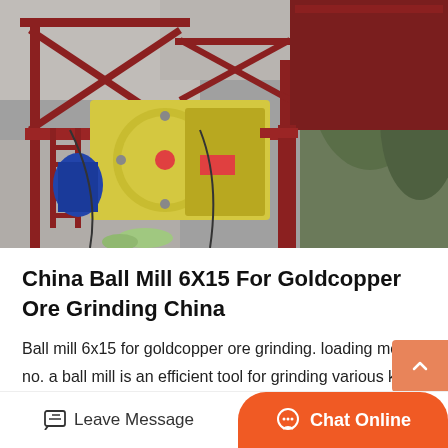[Figure (photo): Industrial ball mill / jaw crusher machinery setup outdoors with red metal frame structure, yellow crushing unit with circular flywheel, blue motor, ladder, and hopper, set against rocky/vegetated background.]
China Ball Mill 6X15 For Goldcopper Ore Grinding China
Ball mill 6x15 for goldcopper ore grinding. loading model no. a ball mill is an efficient tool for grinding various kinds of materials into fine powder. they are generally used to grind material which…